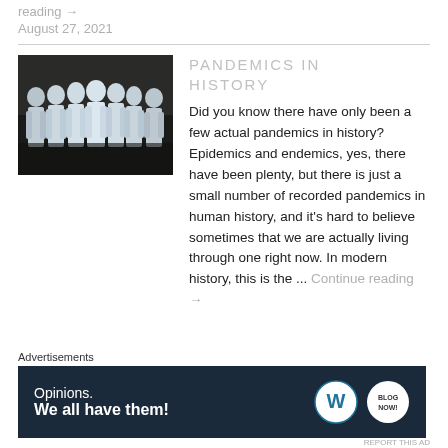reading →
August 27, 2021
[Figure (photo): Black and white historical photo of a group of people wearing full protective gear, long white coats and head coverings, standing together]
PANDEMICS IN HISTORY
Did you know there have only been a few actual pandemics in history? Epidemics and endemics, yes, there have been plenty, but there is just a small number of recorded pandemics in human history, and it's hard to believe sometimes that we are actually living through one right now. In modern history, this is the ...
Continue reading →
Advertisements
Opinions. We all have them!